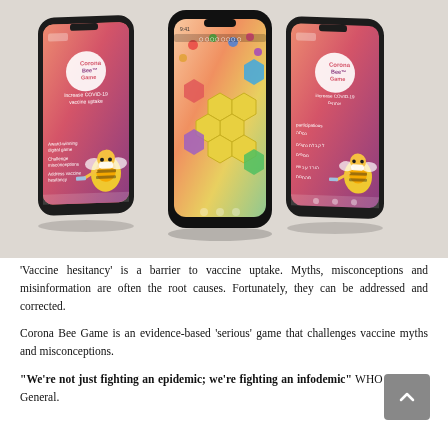[Figure (photo): Three smartphone mockups displaying the Corona Bee Game app. Left and right phones show the app's home screen with an orange/purple gradient background, the Corona Bee Game logo, a bee mascot wearing a mask, and text about increasing COVID-19 vaccine uptake. The center phone shows the game's gameplay screen with a colorful honeycomb/hexagonal board with candy-like game pieces.]
'Vaccine hesitancy' is a barrier to vaccine uptake. Myths, misconceptions and misinformation are often the root causes. Fortunately, they can be addressed and corrected.
Corona Bee Game is an evidence-based 'serious' game that challenges vaccine myths and misconceptions.
"We're not just fighting an epidemic; we're fighting an infodemic" WHO Director-General.